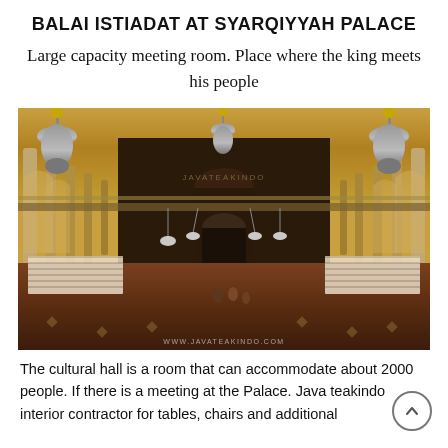BALAI ISTIADAT AT SYARQIYYAH PALACE
Large capacity meeting room. Place where the king meets his people
[Figure (photo): Interior of Balai Istiadat at Syarqiyyah Palace showing a grand ceremonial hall with ornate chandeliers, colonnaded arches, and rows of white chairs arranged on a dark carpet, with a central aisle leading to a stage area. Watermark reads www.javateakindo.com]
The cultural hall is a room that can accommodate about 2000 people. If there is a meeting at the Palace. Java teakindo interior contractor for tables, chairs and additional